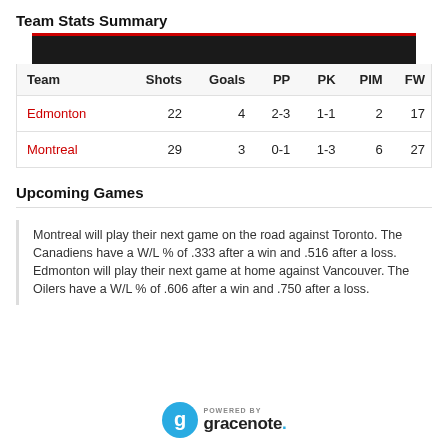Team Stats Summary
| Team | Shots | Goals | PP | PK | PIM | FW |
| --- | --- | --- | --- | --- | --- | --- |
| Edmonton | 22 | 4 | 2-3 | 1-1 | 2 | 17 |
| Montreal | 29 | 3 | 0-1 | 1-3 | 6 | 27 |
Upcoming Games
Montreal will play their next game on the road against Toronto. The Canadiens have a W/L % of .333 after a win and .516 after a loss.
Edmonton will play their next game at home against Vancouver. The Oilers have a W/L % of .606 after a win and .750 after a loss.
[Figure (logo): Powered by Gracenote logo with teal circle containing letter g]